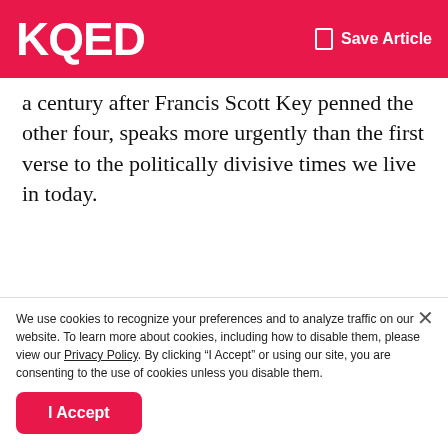KQED  Save Article
a century after Francis Scott Key penned the other four, speaks more urgently than the first verse to the politically divisive times we live in today.
Sponsored
[Figure (photo): Advertisement image showing a smartphone with a doctor visible on the screen, with text overlay reading 'dependable health care in'. Red banner background with white serif text.]
We use cookies to recognize your preferences and to analyze traffic on our website. To learn more about cookies, including how to disable them, please view our Privacy Policy. By clicking “I Accept” or using our site, you are consenting to the use of cookies unless you disable them.
I Accept